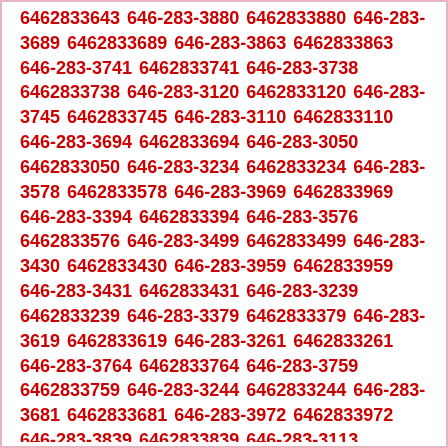6462833643 646-283-3880 6462833880 646-283-3689 6462833689 646-283-3863 6462833863 646-283-3741 6462833741 646-283-3738 6462833738 646-283-3120 6462833120 646-283-3745 6462833745 646-283-3110 6462833110 646-283-3694 6462833694 646-283-3050 6462833050 646-283-3234 6462833234 646-283-3578 6462833578 646-283-3969 6462833969 646-283-3394 6462833394 646-283-3576 6462833576 646-283-3499 6462833499 646-283-3430 6462833430 646-283-3959 6462833959 646-283-3431 6462833431 646-283-3239 6462833239 646-283-3379 6462833379 646-283-3619 6462833619 646-283-3261 6462833261 646-283-3764 6462833764 646-283-3759 6462833759 646-283-3244 6462833244 646-283-3681 6462833681 646-283-3972 6462833972 646-283-3839 6462833839 646-283-3113 6462833113 646-283-3727 6462833727 646-283-3411 6462833411 646-283-3355 6462833355 646-283-3817 6462833817 646-